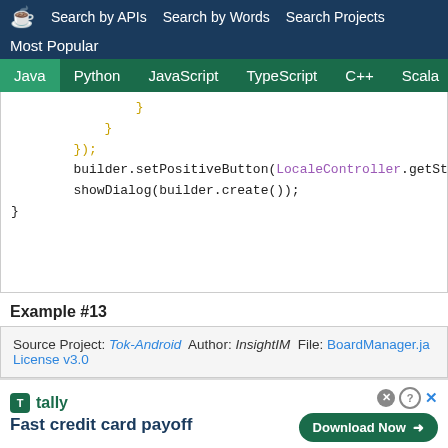Search by APIs  Search by Words  Search Projects  Most Popular
Java  Python  JavaScript  TypeScript  C++  Scala
[Figure (screenshot): Code snippet showing Java code with yellow braces and closing brackets, builder.setPositiveButton(LocaleController.getSt..., showDialog(builder.create()); and closing brace]
Example #13
Source Project: Tok-Android  Author: InsightIM  File: BoardManager.ja  License v3.0
[Figure (screenshot): Tally advertisement banner: Fast credit card payoff, Download Now button]